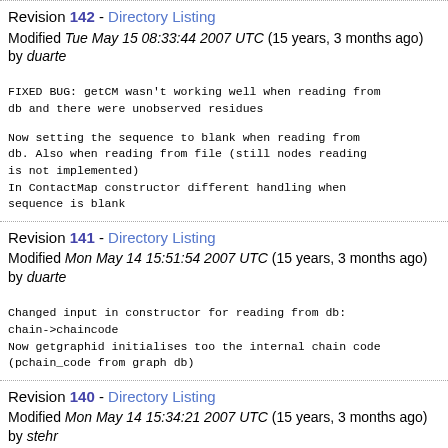Revision 142 - Directory Listing
Modified Tue May 15 08:33:44 2007 UTC (15 years, 3 months ago) by duarte
FIXED BUG: getCM wasn't working well when reading from db and there were unobserved residues
Now setting the sequence to blank when reading from db. Also when reading from file (still nodes reading is not implemented)
In ContactMap constructor different handling when sequence is blank
Revision 141 - Directory Listing
Modified Mon May 14 15:51:54 2007 UTC (15 years, 3 months ago) by duarte
Changed input in constructor for reading from db: chain->chaincode
Now getgraphid initialises too the internal chain code (pchain_code from graph db)
Revision 140 - Directory Listing
Modified Mon May 14 15:34:21 2007 UTC (15 years, 3 months ago) by stehr
Made Pdb.acccode public